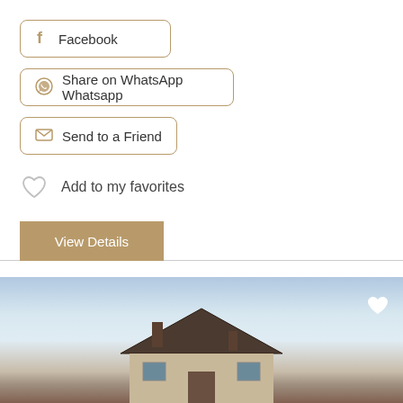Facebook
Share on WhatsApp Whatsapp
Send to a Friend
Add to my favorites
View Details
[Figure (photo): Exterior photo of a building/house with a light blue sky background]